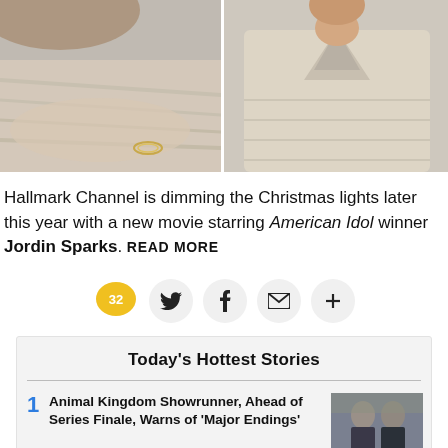[Figure (photo): Two side-by-side photos: left photo shows a person lying down wearing a bracelet on a grey textured surface; right photo shows a person wearing a cream/beige v-neck sweater]
Hallmark Channel is dimming the Christmas lights later this year with a new movie starring American Idol winner Jordin Sparks. READ MORE
[Figure (infographic): Social sharing bar with comment count 32 (yellow speech bubble), Twitter bird icon, Facebook f icon, envelope/email icon, and plus icon]
Today's Hottest Stories
1 Animal Kingdom Showrunner, Ahead of Series Finale, Warns of 'Major Endings'